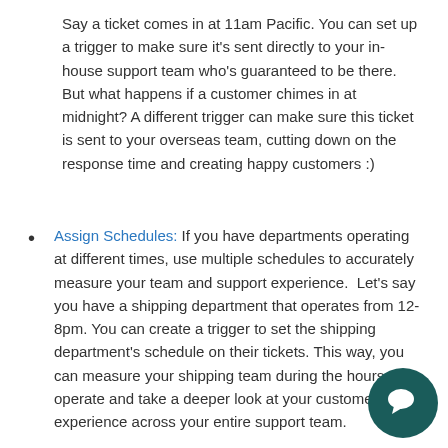Say a ticket comes in at 11am Pacific. You can set up a trigger to make sure it's sent directly to your in-house support team who's guaranteed to be there. But what happens if a customer chimes in at midnight? A different trigger can make sure this ticket is sent to your overseas team, cutting down on the response time and creating happy customers :)
Assign Schedules: If you have departments operating at different times, use multiple schedules to accurately measure your team and support experience.  Let's say you have a shipping department that operates from 12-8pm. You can create a trigger to set the shipping department's schedule on their tickets. This way, you can measure your shipping team during the hours they operate and take a deeper look at your customer experience across your entire support team.